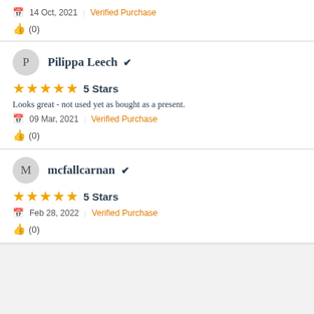14 Oct, 2021  Verified Purchase
👍 (0)
Pilippa Leech ✓
5 Stars
Looks great - not used yet as bought as a present.
09 Mar, 2021  Verified Purchase
👍 (0)
mcfallcarnan ✓
5 Stars
Feb 28, 2022  Verified Purchase
👍 (0)